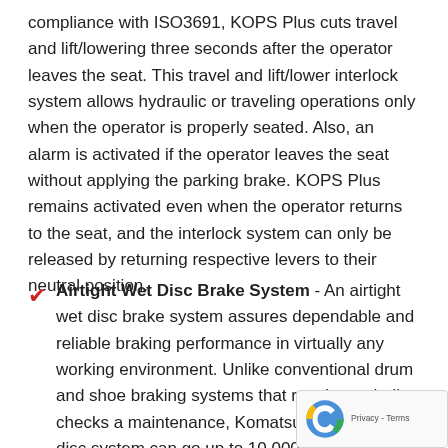compliance with ISO3691, KOPS Plus cuts travel and lift/lowering three seconds after the operator leaves the seat. This travel and lift/lower interlock system allows hydraulic or traveling operations only when the operator is properly seated. Also, an alarm is activated if the operator leaves the seat without applying the parking brake. KOPS Plus remains activated even when the operator returns to the seat, and the interlock system can only be released by returning respective levers to their neutral position.
Airtight Wet Disc Brake System - An airtight wet disc brake system assures dependable and reliable braking performance in virtually any working environment. Unlike conventional drum and shoe braking systems that require periodic checks and maintenance, Komatsu&rsquo;s wet disc system can go up to 10,000 hours with little more